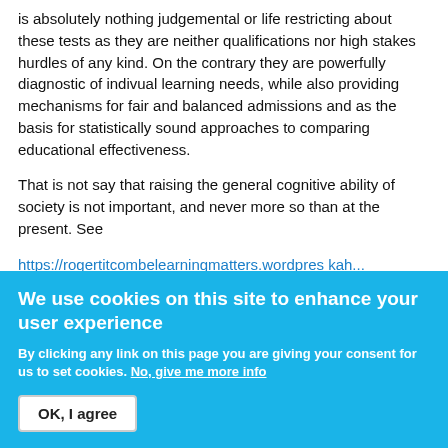is absolutely nothing judgemental or life restricting about these tests as they are neither qualifications nor high stakes hurdles of any kind. On the contrary they are powerfully diagnostic of indivual learning needs, while also providing mechanisms for fair and balanced admissions and as the basis for statistically sound approaches to comparing educational effectiveness.

That is not say that raising the general cognitive ability of society is not important, and never more so than at the present. See

https://rogertitcombelearningmatters.wordpreskah...
We use cookies on this site to enhance your user experience
By clicking any link on this page you are giving your consent for us to set cookies. No, give me more info
OK, I agree